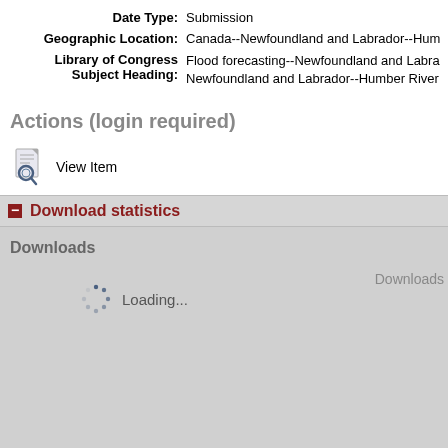Date Type: Submission
Geographic Location: Canada--Newfoundland and Labrador--Hum
Library of Congress Subject Heading: Flood forecasting--Newfoundland and Labrador; Newfoundland and Labrador--Humber River
Actions (login required)
View Item
Download statistics
Downloads
Downloads
Loading...